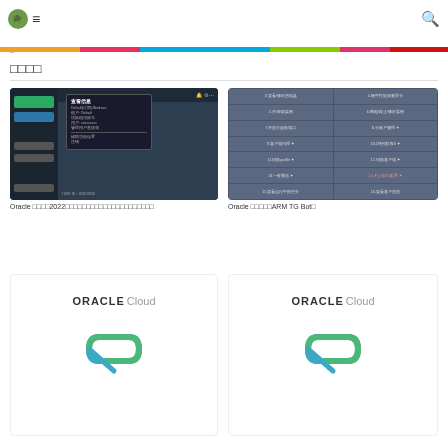□
□□□□
[Figure (screenshot): Oracle cloud dashboard screenshot with dropdown menu showing user/account options]
Oracle □□□□2022□□□□□□□□□□□□□□□□□□□□□
[Figure (screenshot): Oracle cloud management table grid interface with Chinese text options]
Oracle □□□□□ARM TG Bot□
[Figure (logo): Oracle Cloud logo with green/blue pill shape icon]
[Figure (logo): Oracle Cloud logo with green/blue pill shape icon]